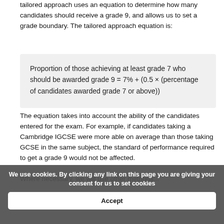tailored approach uses an equation to determine how many candidates should receive a grade 9, and allows us to set a grade boundary. The tailored approach equation is:
The equation takes into account the ability of the candidates entered for the exam. For example, if candidates taking a Cambridge IGCSE were more able on average than those taking GCSE in the same subject, the standard of performance required to get a grade 9 would not be affected.
Where necessary, we will use other methods...